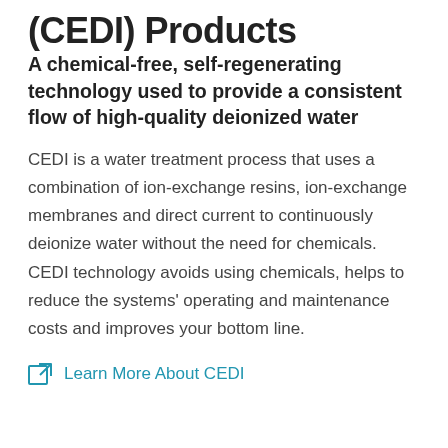(CEDI) Products
A chemical-free, self-regenerating technology used to provide a consistent flow of high-quality deionized water
CEDI is a water treatment process that uses a combination of ion-exchange resins, ion-exchange membranes and direct current to continuously deionize water without the need for chemicals. CEDI technology avoids using chemicals, helps to reduce the systems' operating and maintenance costs and improves your bottom line.
Learn More About CEDI